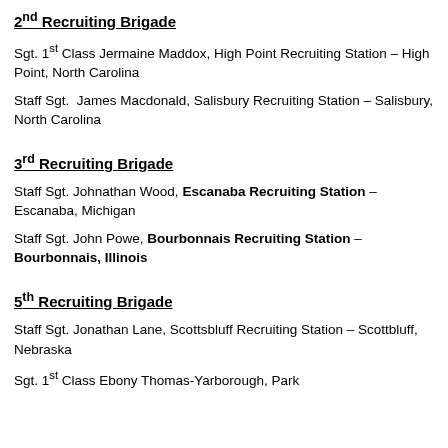2nd Recruiting Brigade
Sgt. 1st Class Jermaine Maddox, High Point Recruiting Station – High Point, North Carolina
Staff Sgt.  James Macdonald, Salisbury Recruiting Station – Salisbury, North Carolina
3rd Recruiting Brigade
Staff Sgt. Johnathan Wood, Escanaba Recruiting Station – Escanaba, Michigan
Staff Sgt. John Powe, Bourbonnais Recruiting Station – Bourbonnais, Illinois
5th Recruiting Brigade
Staff Sgt. Jonathan Lane, Scottsbluff Recruiting Station – Scottbluff, Nebraska
Sgt. 1st Class Ebony Thomas-Yarborough, Park…